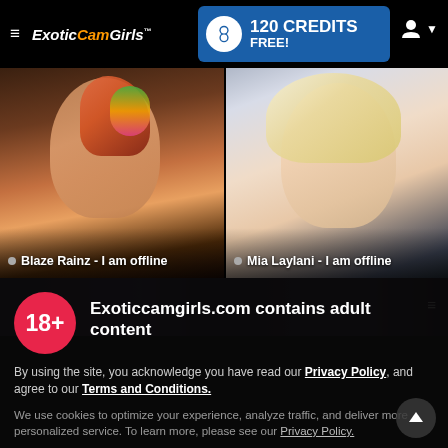ExoticCamGirls™ — 120 CREDITS FREE!
[Figure (screenshot): Two webcam thumbnails side by side: left shows a person with colorful hair (offline), right shows a blonde woman (offline). Labels: Blaze Rainz - I am offline, Mia Laylani - I am offline]
Blaze Rainz - I am offline
Mia Laylani - I am offline
Exoticcamgirls.com contains adult content
By using the site, you acknowledge you have read our Privacy Policy, and agree to our Terms and Conditions.
We use cookies to optimize your experience, analyze traffic, and deliver more personalized service. To learn more, please see our Privacy Policy.
I AGREE